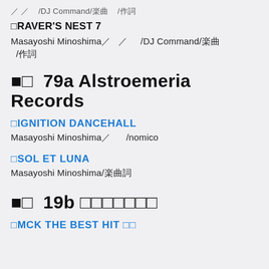／ ／ /DJ Command/楽曲 /作詞
□RAVER'S NEST 7
Masayoshi Minoshima／ ／ /DJ Command/楽曲 /作詞
■□ 79a Alstroemeria Records
□IGNITION DANCEHALL
Masayoshi Minoshima／ /nomico
□SOL ET LUNA
Masayoshi Minoshima/楽曲詞
■□ 19b □□□□□□□
□MCK THE BEST HIT □□